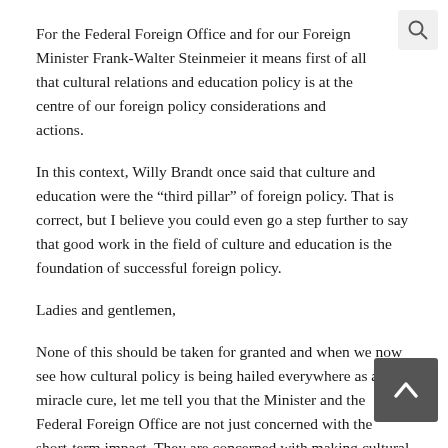For the Federal Foreign Office and for our Foreign Minister Frank-Walter Steinmeier it means first of all that cultural relations and education policy is at the centre of our foreign policy considerations and actions.
In this context, Willy Brandt once said that culture and education were the “third pillar” of foreign policy. That is correct, but I believe you could even go a step further to say that good work in the field of culture and education is the foundation of successful foreign policy.
Ladies and gentlemen,
None of this should be taken for granted and when we now see how cultural policy is being hailed everywhere as a miracle cure, let me tell you that the Minister and the Federal Foreign Office are not just concerned with the short-term impact. They are concerned with making cultural relations and education policy a sustainable, central component of our political culture. This is not just a good social-democratic tradition that started with